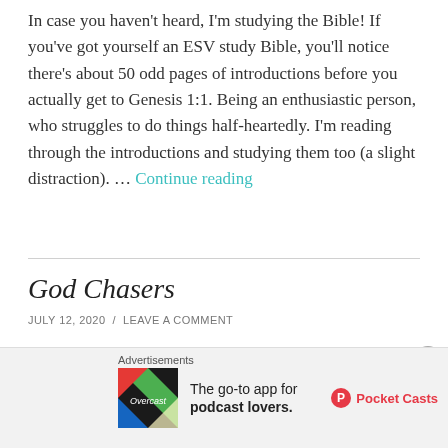In case you haven't heard, I'm studying the Bible! If you've got yourself an ESV study Bible, you'll notice there's about 50 odd pages of introductions before you actually get to Genesis 1:1. Being an enthusiastic person, who struggles to do things half-heartedly. I'm reading through the introductions and studying them too (a slight distraction). … Continue reading
God Chasers
JULY 12, 2020 / LEAVE A COMMENT
[Figure (infographic): Pocket Casts advertisement: 'The go-to app for podcast lovers.']